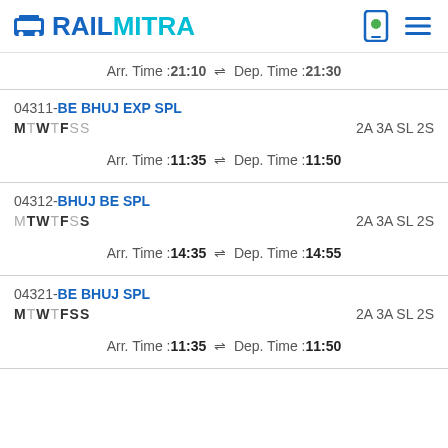RAILMITRA
Arr. Time :21:10  Dep. Time :21:30
04311-BE BHUJ EXP SPL  MTWTFSS  2A 3A SL 2S  Arr. Time :11:35  Dep. Time :11:50
04312-BHUJ BE SPL  MTWTFSS  2A 3A SL 2S  Arr. Time :14:35  Dep. Time :14:55
04321-BE BHUJ SPL  MTWTFSS  2A 3A SL 2S  Arr. Time :11:35  Dep. Time :11:50